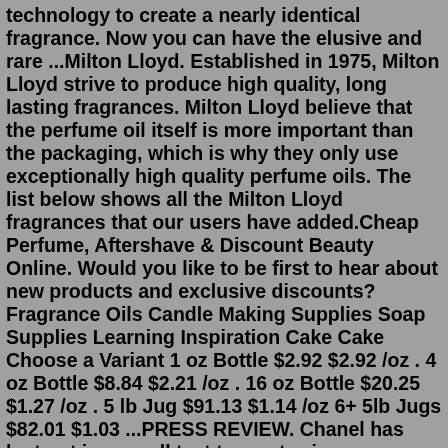technology to create a nearly identical fragrance. Now you can have the elusive and rare ...Milton Lloyd. Established in 1975, Milton Lloyd strive to produce high quality, long lasting fragrances. Milton Lloyd believe that the perfume oil itself is more important than the packaging, which is why they only use exceptionally high quality perfume oils. The list below shows all the Milton Lloyd fragrances that our users have added.Cheap Perfume, Aftershave & Discount Beauty Online. Would you like to be first to hear about new products and exclusive discounts? Fragrance Oils Candle Making Supplies Soap Supplies Learning Inspiration Cake Cake Choose a Variant 1 oz Bottle $2.92 $2.92 /oz . 4 oz Bottle $8.84 $2.21 /oz . 16 oz Bottle $20.25 $1.27 /oz . 5 lb Jug $91.13 $1.14 /oz 6+ 5lb Jugs $82.01 $1.03 ...PRESS REVIEW. Chanel has lost out in a smell test to a cut-price supermarket scent. Ninety per cent of women in the test turned their noses up at £61 Coco Mademoiselle in favour of Suddenly Madame Glamour from Lidl at £3.99 for 50ml. The test was